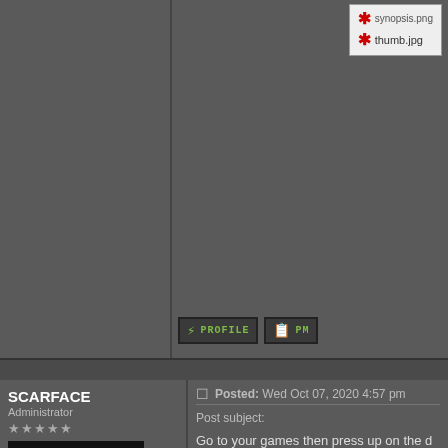[Figure (screenshot): Top portion of forum thread showing previous post area with thumbnail file listing (thumb.jpg) and Profile/PM buttons]
SCARFACE
Administrator
★★★★★
[Figure (photo): Avatar image of Scarface movie character holding money with 'Get Rich or Die Dollar' text]
Joined: Feb 06, 2007
Posts: 2470
Location: Minnesota, USA
Posted: Wed Oct 07, 2020 4:57 pm
Post subject:
Go to your games then press up on the d pa then if not showing click on the screen part if not you go to main settings the script then I would have some pics for you
The one the only Scarface!!
Display posts from previous: All Posts  Oldest First  Go
NEW TOPIC